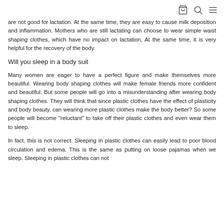[cart] [search] [menu]
are not good for lactation. At the same time, they are easy to cause milk deposition and inflammation. Mothers who are still lactating can choose to wear simple waist shaping clothes, which have no impact on lactation, At the same time, it is very helpful for the recovery of the body.
Will you sleep in a body suit
Many women are eager to have a perfect figure and make themselves more beautiful. Wearing body shaping clothes will make female friends more confident and beautiful. But some people will go into a misunderstanding after wearing body shaping clothes. They will think that since plastic clothes have the effect of plasticity and body beauty, can wearing more plastic clothes make the body better? So some people will become "reluctant" to take off their plastic clothes and even wear them to sleep.
In fact, this is not correct. Sleeping in plastic clothes can easily lead to poor blood circulation and edema. This is the same as putting on loose pajamas when we sleep. Sleeping in plastic clothes can not